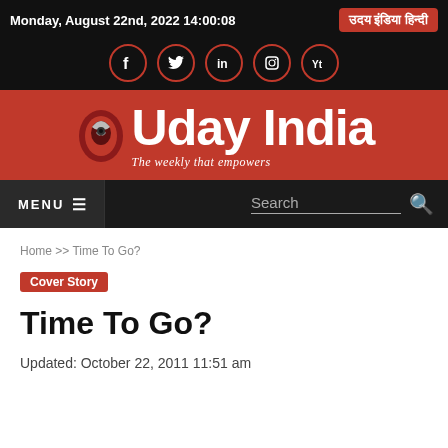Monday, August 22nd, 2022 14:00:08
उदय इंडिया हिन्दी
[Figure (logo): Social media icons: Facebook, Twitter, LinkedIn, Instagram, YouTube — white icons on dark background with red circle borders]
[Figure (logo): Uday India logo — red background with eagle icon, white bold text 'Uday India', italic tagline 'The weekly that empowers']
MENU
Search
Home >> Time To Go?
Cover Story
Time To Go?
Updated: October 22, 2011 11:51 am